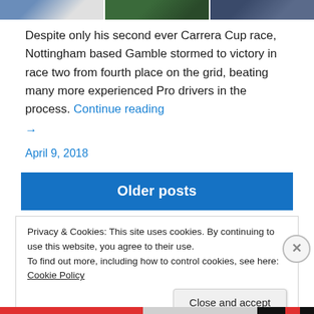[Figure (photo): Three partially visible photo thumbnails in a horizontal strip at the top of the page]
Despite only his second ever Carrera Cup race, Nottingham based Gamble stormed to victory in race two from fourth place on the grid, beating many more experienced Pro drivers in the process. Continue reading →
April 9, 2018
Older posts
Privacy & Cookies: This site uses cookies. By continuing to use this website, you agree to their use.
To find out more, including how to control cookies, see here: Cookie Policy
Close and accept